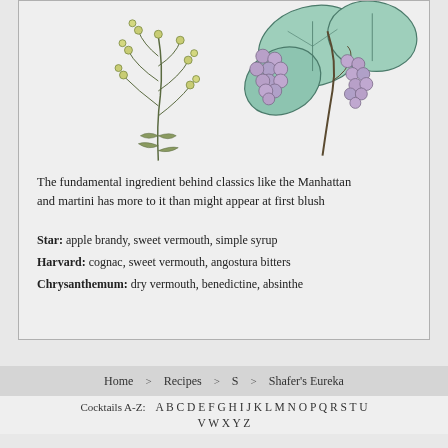[Figure (illustration): Two botanical illustrations side by side: left shows a flowering herb plant with small yellow-green blooms on branching stems with feathery leaves; right shows grape clusters with large green leaves in a mint/teal color scheme with purple grapes.]
The fundamental ingredient behind classics like the Manhattan and martini has more to it than might appear at first blush
Star: apple brandy, sweet vermouth, simple syrup
Harvard: cognac, sweet vermouth, angostura bitters
Chrysanthemum: dry vermouth, benedictine, absinthe
Home > Recipes > S > Shafer's Eureka
Cocktails A-Z: A B C D E F G H I J K L M N O P Q R S T U V W X Y Z